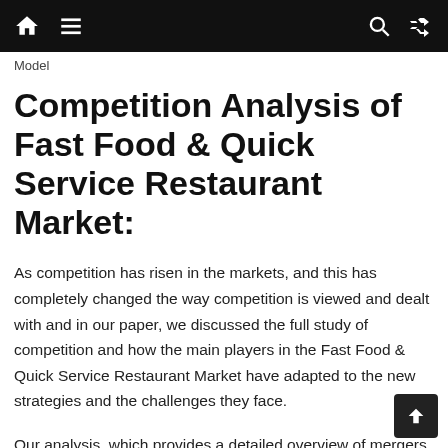Model
Competition Analysis of Fast Food & Quick Service Restaurant Market:
As competition has risen in the markets, and this has completely changed the way competition is viewed and dealt with and in our paper, we discussed the full study of competition and how the main players in the Fast Food & Quick Service Restaurant Market have adapted to the new strategies and the challenges they face.
Our analysis, which provides a detailed overview of mergers and acquisitions, will provide you with a comprehensive understanding of market dynamics as well as a clear understanding of how to thrive and grow in the market.